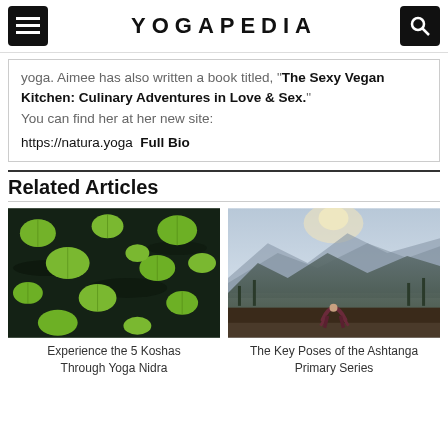YOGAPEDIA
yoga. Aimee has also written a book titled, "The Sexy Vegan Kitchen: Culinary Adventures in Love & Sex." You can find her at her new site: https://natura.yoga Full Bio
Related Articles
[Figure (photo): Lily pads floating on dark water — article image for Experience the 5 Koshas Through Yoga Nidra]
Experience the 5 Koshas Through Yoga Nidra
[Figure (photo): Person doing a yoga backbend pose on a rocky mountain top with misty mountains in background — article image for The Key Poses of the Ashtanga Primary Series]
The Key Poses of the Ashtanga Primary Series